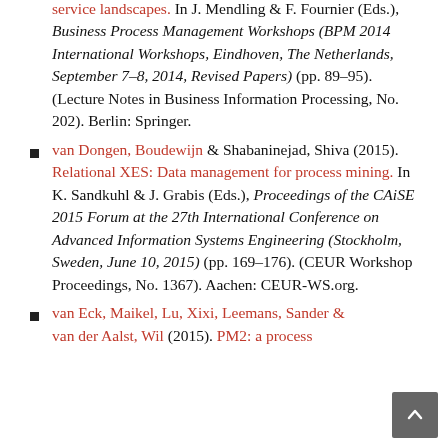(continued) service landscapes. In J. Mendling & F. Fournier (Eds.), Business Process Management Workshops (BPM 2014 International Workshops, Eindhoven, The Netherlands, September 7–8, 2014, Revised Papers) (pp. 89–95). (Lecture Notes in Business Information Processing, No. 202). Berlin: Springer.
van Dongen, Boudewijn & Shabaninejad, Shiva (2015). Relational XES: Data management for process mining. In K. Sandkuhl & J. Grabis (Eds.), Proceedings of the CAiSE 2015 Forum at the 27th International Conference on Advanced Information Systems Engineering (Stockholm, Sweden, June 10, 2015) (pp. 169–176). (CEUR Workshop Proceedings, No. 1367). Aachen: CEUR-WS.org.
van Eck, Maikel, Lu, Xixi, Leemans, Sander & van der Aalst, Wil (2015). PM2: a process...